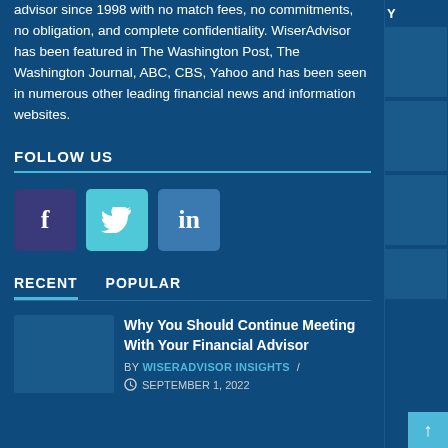advisor since 1998 with no match fees, no commitments, no obligation, and complete confidentiality. WiserAdvisor has been featured in The Washington Post, The Washington Journal, ABC, CBS, Yahoo and has been seen in numerous other leading financial news and information websites.
FOLLOW US
[Figure (other): Social media icons: Facebook (f), Twitter (bird), LinkedIn (in)]
RECENT   POPULAR
Why You Should Continue Meeting With Your Financial Advisor
BY WISERADVISOR INSIGHTS / SEPTEMBER 1, 2022